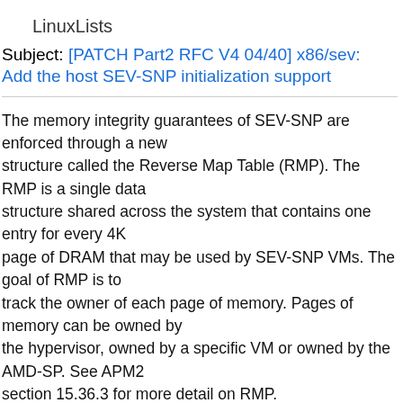LinuxLists
Subject: [PATCH Part2 RFC V4 04/40] x86/sev: Add the host SEV-SNP initialization support
The memory integrity guarantees of SEV-SNP are enforced through a new structure called the Reverse Map Table (RMP). The RMP is a single data structure shared across the system that contains one entry for every 4K page of DRAM that may be used by SEV-SNP VMs. The goal of RMP is to track the owner of each page of memory. Pages of memory can be owned by the hypervisor, owned by a specific VM or owned by the AMD-SP. See APM2 section 15.36.3 for more detail on RMP.